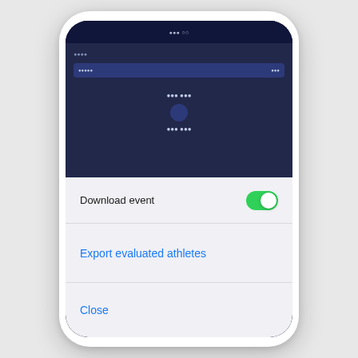[Figure (screenshot): Mobile phone screenshot showing a sports/athlete evaluation app with a dark blue background. The lower portion shows an iOS action sheet with 'Download event' toggle (enabled/green), 'Export evaluated athletes' link in blue, and 'Close' link in blue.]
Download event
Export evaluated athletes
Close